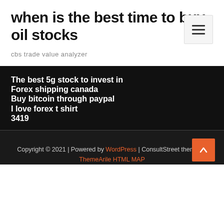when is the best time to buy oil stocks
cbs trade value analyzer
The best 5g stock to invest in
Forex shipping canada
Buy bitcoin through paypal
I love forex t shirt
3419
Copyright © 2021 | Powered by WordPress | ConsultStreet theme by ThemeArile HTML MAP